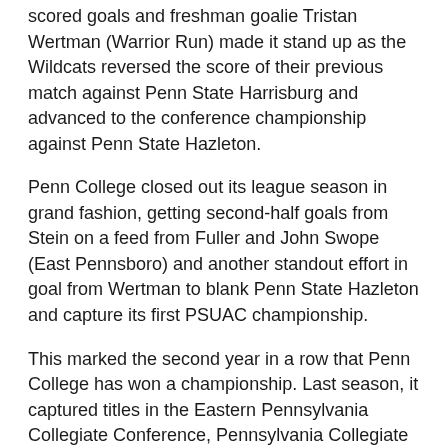scored goals and freshman goalie Tristan Wertman (Warrior Run) made it stand up as the Wildcats reversed the score of their previous match against Penn State Harrisburg and advanced to the conference championship against Penn State Hazleton.
Penn College closed out its league season in grand fashion, getting second-half goals from Stein on a feed from Fuller and John Swope (East Pennsboro) and another standout effort in goal from Wertman to blank Penn State Hazleton and capture its first PSUAC championship.
This marked the second year in a row that Penn College has won a championship. Last season, it captured titles in the Eastern Pennsylvania Collegiate Conference, Pennsylvania Collegiate Athletic Conference and Commonwealth Campus Athletic Conference, the latter the forerunner to the PSUAC.
Playing an NCAA Division III team and without its regular